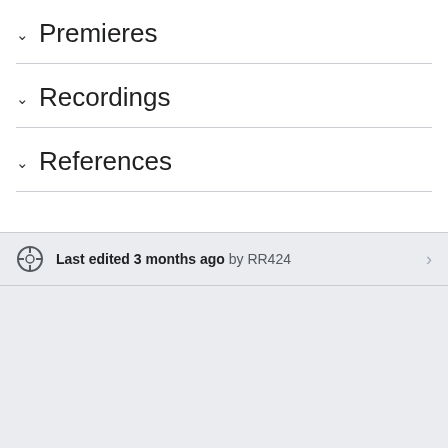Premieres
Recordings
References
Last edited 3 months ago by RR424